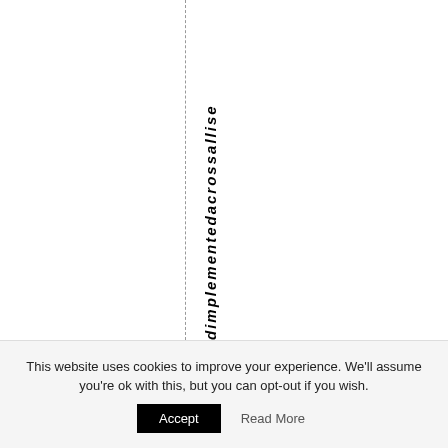dimplementedacrossallise
This website uses cookies to improve your experience. We'll assume you're ok with this, but you can opt-out if you wish.